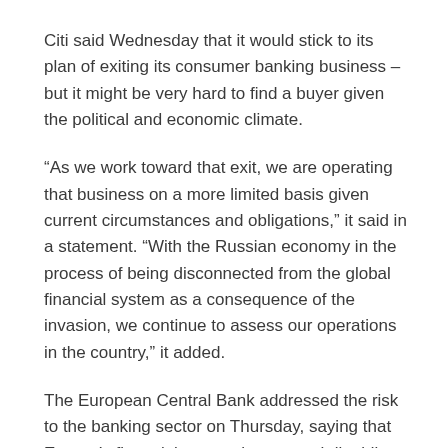Citi said Wednesday that it would stick to its plan of exiting its consumer banking business – but it might be very hard to find a buyer given the political and economic climate.
“As we work toward that exit, we are operating that business on a more limited basis given current circumstances and obligations,” it said in a statement. “With the Russian economy in the process of being disconnected from the global financial system as a consequence of the invasion, we continue to assess our operations in the country,” it added.
The European Central Bank addressed the risk to the banking sector on Thursday, saying that Europe’s financial system has enough liquidity and there were limited signs of stress.